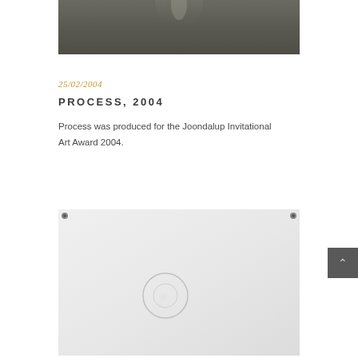[Figure (photo): Dark grey/charcoal abstract artwork photograph, landscape orientation, showing subtle light streaks on dark background]
25/02/2004
PROCESS, 2004
Process was produced for the Joondalup Invitational Art Award 2004.
[Figure (photo): White/light grey artwork mounted on wall with small corner bolts visible, showing faint circular mark in center, landscape orientation]